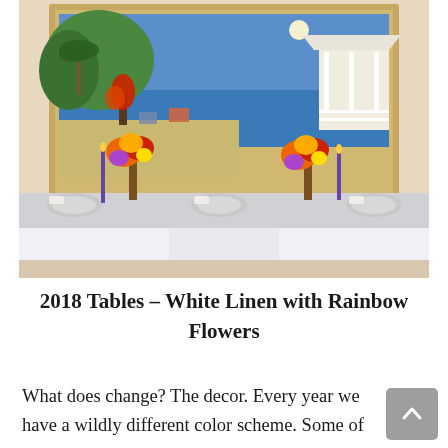[Figure (photo): A dining table set with white linen tablecloth, colorful floral arrangements with orange, red, yellow, and purple flowers in vases, purple candles, and place settings. Behind the table hangs a large framed painting of a tropical beach scene with blue water, palm trees, and a white gazebo.]
2018 Tables – White Linen with Rainbow Flowers
What does change? The decor. Every year we have a wildly different color scheme. Some of